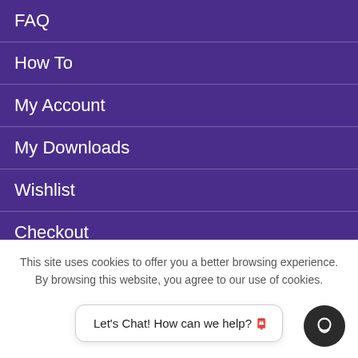FAQ
How To
My Account
My Downloads
Wishlist
Checkout
Cart
LEARN & CONNECT
This site uses cookies to offer you a better browsing experience. By browsing this website, you agree to our use of cookies.
Let's Chat! How can we help? 📧